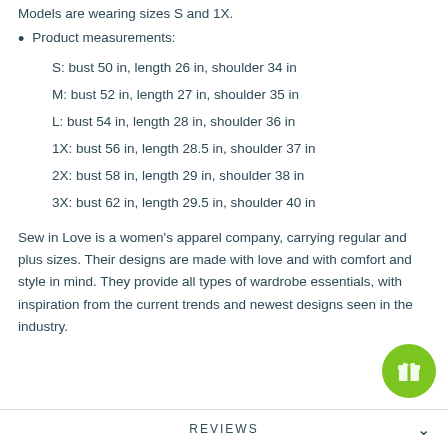Models are wearing sizes S and 1X.
Product measurements:
S: bust 50 in, length 26 in, shoulder 34 in
M: bust 52 in, length 27 in, shoulder 35 in
L: bust 54 in, length 28 in, shoulder 36 in
1X: bust 56 in, length 28.5 in, shoulder 37 in
2X: bust 58 in, length 29 in, shoulder 38 in
3X: bust 62 in, length 29.5 in, shoulder 40 in
Sew in Love is a women's apparel company, carrying regular and plus sizes. Their designs are made with love and with comfort and style in mind. They provide all types of wardrobe essentials, with inspiration from the current trends and newest designs seen in the industry.
REVIEWS